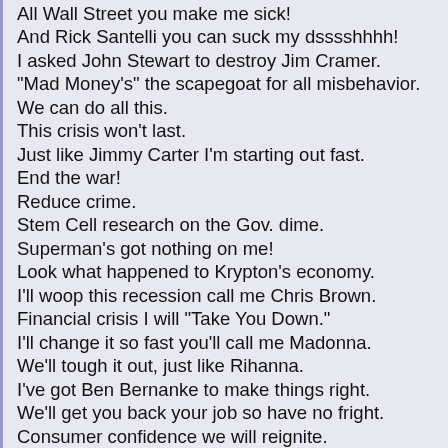All Wall Street you make me sick!
And Rick Santelli you can suck my dsssshhhh!
I asked John Stewart to destroy Jim Cramer.
"Mad Money's" the scapegoat for all misbehavior.
We can do all this.
This crisis won't last.
Just like Jimmy Carter I'm starting out fast.
End the war!
Reduce crime.
Stem Cell research on the Gov. dime.
Superman's got nothing on me!
Look what happened to Krypton's economy.
I'll woop this recession call me Chris Brown.
Financial crisis I will "Take You Down."
I'll change it so fast you'll call me Madonna.
We'll tough it out, just like Rihanna.
I've got Ben Bernanke to make things right.
We'll get you back your job so have no fright.
Consumer confidence we will reignite.
Just like Michelle my budget be tight.
My stimulus package helps her sleep well at night.